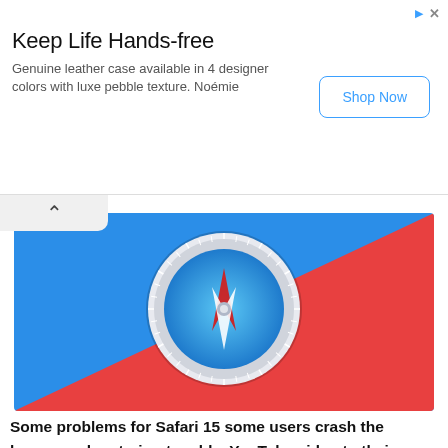[Figure (screenshot): Advertisement banner: 'Keep Life Hands-free' with 'Genuine leather case available in 4 designer colors with luxe pebble texture. Noémie' and a 'Shop Now' button. Advert icon and X close button top right.]
[Figure (illustration): Safari browser logo (compass with red needle on blue/white dial) centered on a background split diagonally blue (top-left) and red (bottom-right). A chevron/up-arrow in a small tab is visible at top-left.]
Some problems for Safari 15 some users crash the browser when trying to add a YouTube video to their favorites: The alternative is to create a favorites folder for YouTube videos and manually drag and drop the desired web pages into it. A